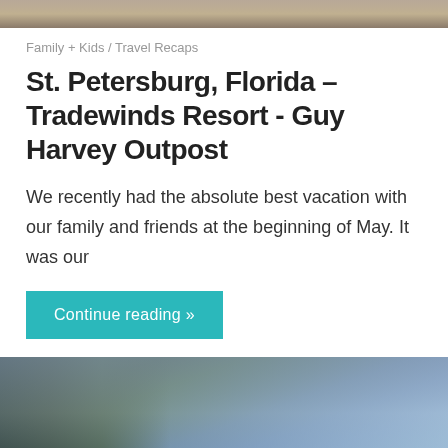[Figure (photo): Top portion of an outdoor photo, partially cropped at top of page]
Family + Kids / Travel Recaps
St. Petersburg, Florida – Tradewinds Resort - Guy Harvey Outpost
We recently had the absolute best vacation with our family and friends at the beginning of May. It was our
Continue reading »
[Figure (photo): Outdoor photo showing a tall pine tree on the left against a dramatic blue cloudy sky]